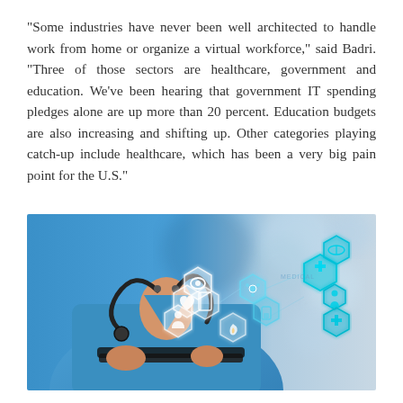“Some industries have never been well architected to handle work from home or organize a virtual workforce,” said Badri. “Three of those sectors are healthcare, government and education. We’ve been hearing that government IT spending pledges alone are up more than 20 percent. Education budgets are also increasing and shifting up. Other categories playing catch-up include healthcare, which has been a very big pain point for the U.S.”
[Figure (photo): A healthcare professional in blue scrubs wearing a stethoscope, holding a tablet device from which various medical and healthcare icons (hexagonal symbols depicting an eye, heart, person, pill, cross, etc.) appear to float in a digital holographic display, representing healthcare technology and digital medicine.]